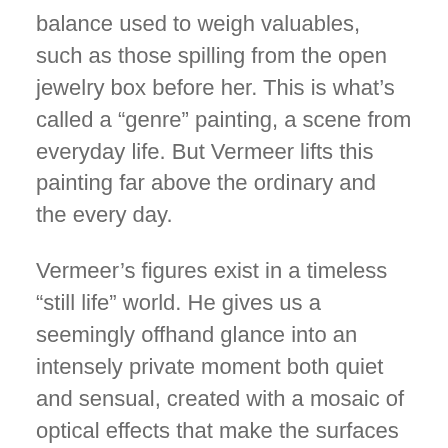balance used to weigh valuables, such as those spilling from the open jewelry box before her. This is what's called a “genre” painting, a scene from everyday life. But Vermeer lifts this painting far above the ordinary and the every day.
Vermeer’s figures exist in a timeless “still life” world. He gives us a seemingly offhand glance into an intensely private moment both quiet and sensual, created with a mosaic of optical effects that make the surfaces shimmer. He directs our attention to the balance —  the perspective lines all converge on the woman’s hand at the center. This whole painting is exquisitely “balanced.”
The diagonal of the light falling from the window (a